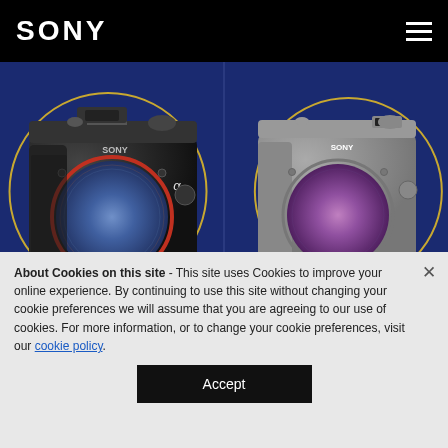SONY
[Figure (photo): Sony Alpha 1 mirrorless camera body (black) on dark blue background with gold circle, shown from front without lens]
α1
ILCE-1
[Figure (logo): SDK cube icon badge]
[Figure (photo): Sony Alpha 7C mirrorless camera body (silver/grey) on dark blue background with gold circle, shown from front without lens]
Alpha 7C
ILCE-7C
About Cookies on this site - This site uses Cookies to improve your online experience. By continuing to use this site without changing your cookie preferences we will assume that you are agreeing to our use of cookies. For more information, or to change your cookie preferences, visit our cookie policy.
Accept